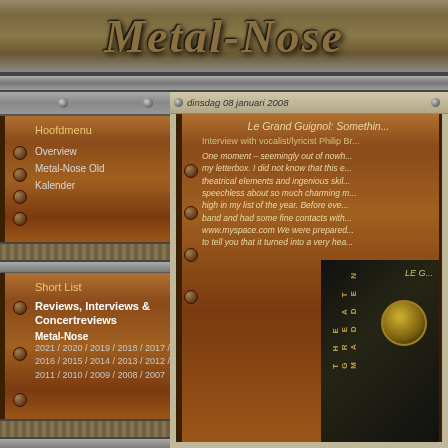Metal-Nose
dinsdag 08 januari 2008
Hoofdmenu
Overview
Metal-Nose Old
Kalender
Short List
Reviews, Interviews & Concertreviews
Metal-Nose
2021 / 2020 / 2019 / 2018 / 2017 / 2016 / 2015 / 2014 / 2013 / 2012 / 2011 / 2010 / 2009 / 2008 / 2007
Interviews & Concerts
Le Grand Guignol: Something...
Interview with vocalist/lyricist Philip Br...
One moment – seemingly out of nowh... my letterbox. I did not know that this e... theatrical elements and ingenious skil... speechless about so much charming m... high in my list of the year. Before eve... band and had some fine contacts with... www.myspace.com We were prepared... to tell you that it turned into a very hea...
[Figure (photo): Album cover of Le Grand Guignol - The Great Madden, dark art with vertical text and circular emblem]